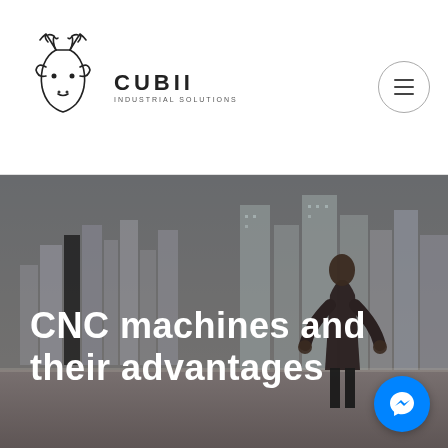[Figure (logo): Cubii Industrial Solutions logo with a deer head outline and company name]
[Figure (photo): Hero image showing a businessman standing on a balcony overlooking a city skyline with tall glass buildings, overlaid with text 'CNC machines and their advantages'. A Messenger chat button appears in the bottom right corner.]
CNC machines and their advantages